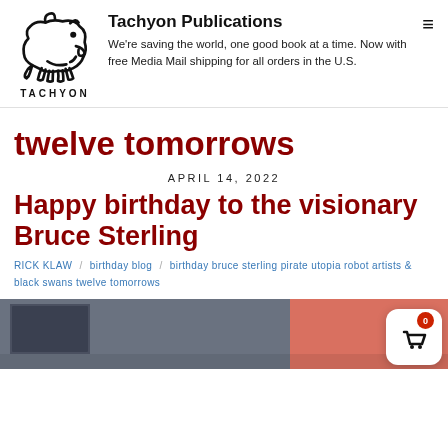Tachyon Publications — We're saving the world, one good book at a time. Now with free Media Mail shipping for all orders in the U.S.
twelve tomorrows
APRIL 14, 2022
Happy birthday to the visionary Bruce Sterling
RICK KLAW / birthday blog / birthday bruce sterling pirate utopia robot artists & black swans twelve tomorrows
[Figure (photo): Bottom portion of a blog post image showing a dark grey building facade on the left and a reddish/coral wall on the right]